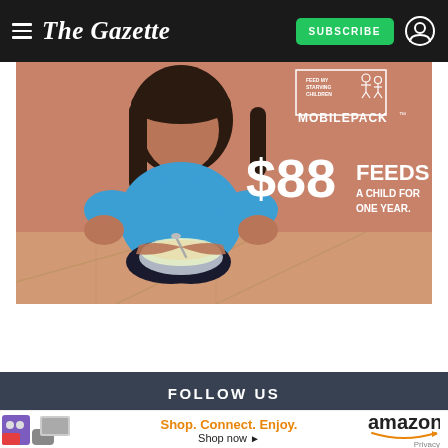The Gazette — SUBSCRIBE
[Figure (photo): Feed My Starving Children MobilePack advertisement. A young girl in a blue shirt holds a bowl of food. Text overlay reads: '$88 FEEDS A CHILD FOR ONE YEAR.']
FOLLOW US
[Figure (infographic): Amazon advertisement banner: 'Shop. Connect. Enjoy. Shop now' with Amazon logo and Privacy link. Shows product images including toys, shoes, and electronics.]